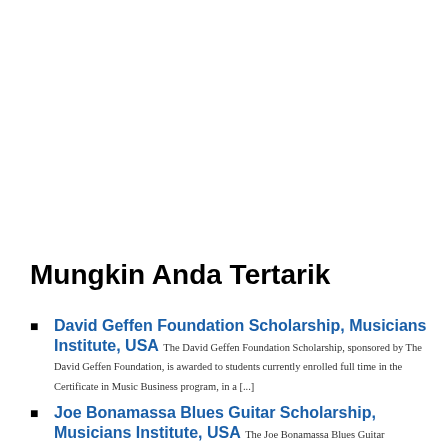Mungkin Anda Tertarik
David Geffen Foundation Scholarship, Musicians Institute, USA The David Geffen Foundation Scholarship, sponsored by The David Geffen Foundation, is awarded to students currently enrolled full time in the Certificate in Music Business program, in a [...]
Joe Bonamassa Blues Guitar Scholarship, Musicians Institute, USA The Joe Bonamassa Blues Guitar Scholarship, (sponsored by the Keeping The Blues Alive Foundation) was created to promote and